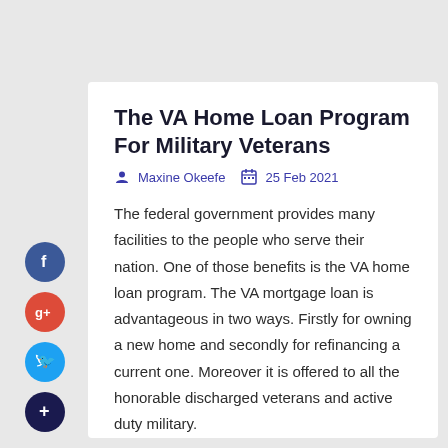The VA Home Loan Program For Military Veterans
Maxine Okeefe   25 Feb 2021
The federal government provides many facilities to the people who serve their nation. One of those benefits is the VA home loan program. The VA mortgage loan is advantageous in two ways. Firstly for owning a new home and secondly for refinancing a current one. Moreover it is offered to all the honorable discharged veterans and active duty military.